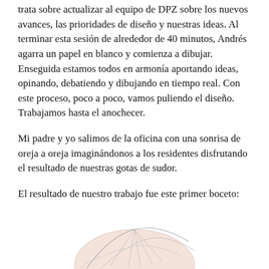trata sobre actualizar al equipo de DPZ sobre los nuevos avances, las prioridades de diseño y nuestras ideas. Al terminar esta sesión de alrededor de 40 minutos, Andrés agarra un papel en blanco y comienza a dibujar. Enseguida estamos todos en armonía aportando ideas, opinando, debatiendo y dibujando en tiempo real. Con este proceso, poco a poco, vamos puliendo el diseño. Trabajamos hasta el anochecer.
Mi padre y yo salimos de la oficina con una sonrisa de oreja a oreja imaginándonos a los residentes disfrutando el resultado de nuestras gotas de sudor.
El resultado de nuestro trabajo fue este primer boceto:
[Figure (illustration): Partial view of a hand-drawn sketch showing what appears to be an architectural or design boceto (first draft sketch), visible at the bottom of the page, partially cut off. Shows curved lines and a pinkish/rose colored form.]